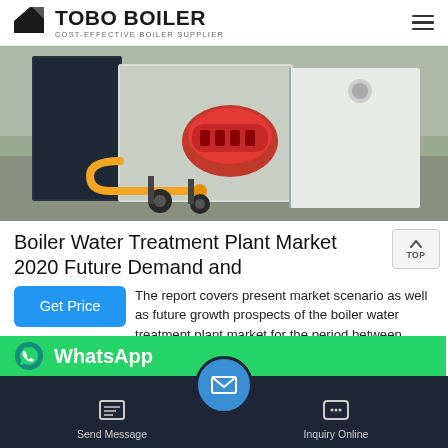TOBO BOILER — COST-EFFECTIVE BOILER SUPPLIER
[Figure (photo): Industrial boiler equipment with red burner unit mounted on a mobile frame with yellow gas pipes, shown on a gray concrete floor in a factory setting.]
Boiler Water Treatment Plant Market 2020 Future Demand and
The report covers present market scenario as well as future growth prospects of the boiler water treatment plant market for the period between 2020 and 2029. The report also immerses key drivers, hindrances, opportunities and trends…
Send Message | Inquiry Online